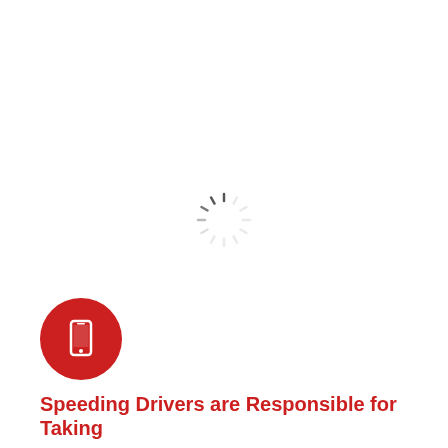[Figure (infographic): A loading spinner (radial progress indicator) centered on the page, with dark tick marks at the top-right position indicating loading state.]
[Figure (illustration): A red circle icon containing a white smartphone/mobile phone symbol, positioned at the bottom-left of the page.]
Speeding Drivers are Responsible for Taking